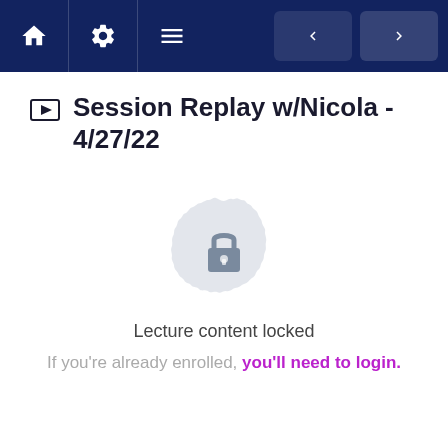Navigation bar with home, settings, menu icons and prev/next buttons
Session Replay w/Nicola - 4/27/22
[Figure (illustration): Decorative mandala/badge shape in light grey with a padlock icon in the center, indicating locked content]
Lecture content locked
If you're already enrolled, you'll need to login.